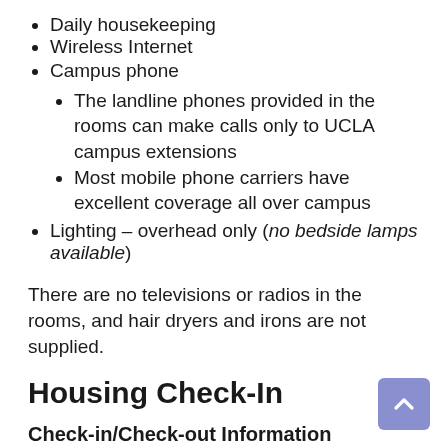Daily housekeeping
Wireless Internet
Campus phone
The landline phones provided in the rooms can make calls only to UCLA campus extensions
Most mobile phone carriers have excellent coverage all over campus
Lighting – overhead only (no bedside lamps available)
There are no televisions or radios in the rooms, and hair dryers and irons are not supplied.
Housing Check-In
Check-in/Check-out Information
Check-in Time: 4:00 pm (If you arrive early, you may store your luggage at the De Neve housing front desk until check-in time.)